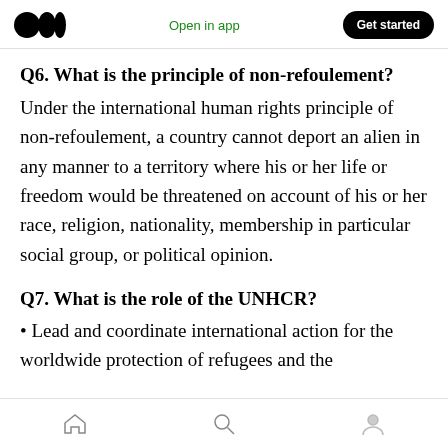Open in app | Get started
Q6. What is the principle of non-refoulement?
Under the international human rights principle of non-refoulement, a country cannot deport an alien in any manner to a territory where his or her life or freedom would be threatened on account of his or her race, religion, nationality, membership in particular social group, or political opinion.
Q7. What is the role of the UNHCR?
Lead and coordinate international action for the worldwide protection of refugees and the
home | search | profile